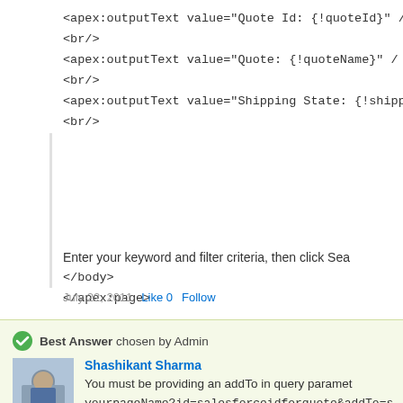<apex:outputText value="Quote Id: {!quoteId}" />
<br/>
<apex:outputText value="Quote: {!quoteName}" /
<br/>
<apex:outputText value="Shipping State: {!shippin
<br/>
Enter your keyword and filter criteria, then click Sea
</body>
</apex:page>
July 22, 2011   Like 0   Follow
Best Answer chosen by Admin
Shashikant Sharma
You must be providing an addTo in query paramet
yourpageName?id=salesforceidforquote&addTo=s